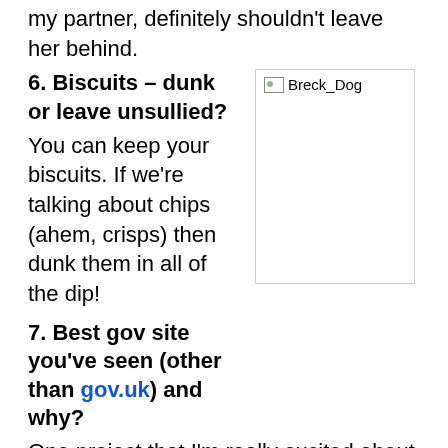my partner, definitely shouldn't leave her behind.
6. Biscuits – dunk or leave unsullied?
You can keep your biscuits. If we're talking about chips (ahem, crisps) then dunk them in all of the dip!
[Figure (photo): Image placeholder labeled Breck_Dog]
7. Best gov site you've seen (other than gov.uk) and why?
One project that I'm really excited about is the work of digital communications colleagues on transforming the gov.scot website. The beta version (beta.gov.scot) has recently been